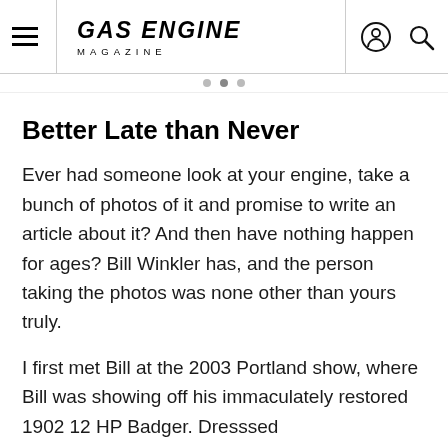Gas Engine Magazine
Better Late than Never
Ever had someone look at your engine, take a bunch of photos of it and promise to write an article about it? And then have nothing happen for ages? Bill Winkler has, and the person taking the photos was none other than yours truly.
I first met Bill at the 2003 Portland show, where Bill was showing off his immaculately restored 1902 12 HP Badger. Dresssed